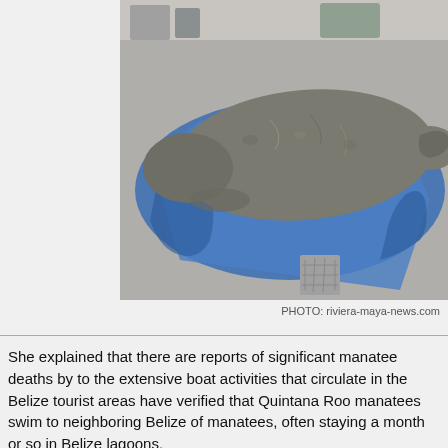[Figure (photo): A dead manatee lying on a blue tarp on a concrete floor, viewed from the side. The manatee is large, grey, and shows visible markings/scratches on its skin.]
PHOTO: riviera-maya-news.com
She explained that there are reports of significant manatee deaths by to the extensive boat activities that circulate in the Belize tourist areas have verified that Quintana Roo manatees swim to neighboring Belize of manatees, often staying a month or so in Belize lagoons.